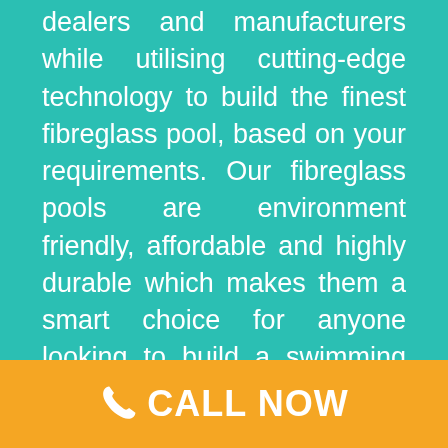dealers and manufacturers while utilising cutting-edge technology to build the finest fibreglass pool, based on your requirements. Our fibreglass pools are environment friendly, affordable and highly durable which makes them a smart choice for anyone looking to build a swimming pool in Parkinson.

When you work with us, we guarantee you a luxurious, high-quality, state-of-the-art pool that won't give out just after a couple of years. So, don't
CALL NOW